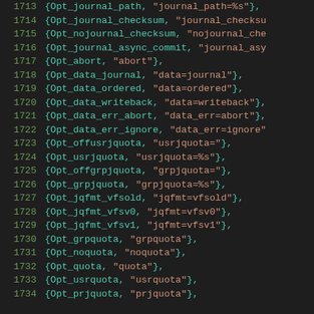1713  {Opt_journal_path, "journal_path=%s"},
1714  {Opt_journal_checksum, "journal_checksu
1715  {Opt_nojournal_checksum, "nojournal_che
1716  {Opt_journal_async_commit, "journal_asy
1717  {Opt_abort, "abort"},
1718  {Opt_data_journal, "data=journal"},
1719  {Opt_data_ordered, "data=ordered"},
1720  {Opt_data_writeback, "data=writeback"},
1721  {Opt_data_err_abort, "data_err=abort"},
1722  {Opt_data_err_ignore, "data_err=ignore"
1723  {Opt_offusrjquota, "usrjquota="},
1724  {Opt_usrjquota, "usrjquota=%s"},
1725  {Opt_offgrpjquota, "grpjquota="},
1726  {Opt_grpjquota, "grpjquota=%s"},
1727  {Opt_jqfmt_vfsold, "jqfmt=vfsold"},
1728  {Opt_jqfmt_vfsv0, "jqfmt=vfsv0"},
1729  {Opt_jqfmt_vfsv1, "jqfmt=vfsv1"},
1730  {Opt_grpquota, "grpquota"},
1731  {Opt_noquota, "noquota"},
1732  {Opt_quota, "quota"},
1733  {Opt_usrquota, "usrquota"},
1734  {Opt_prjquota, "prjquota"},